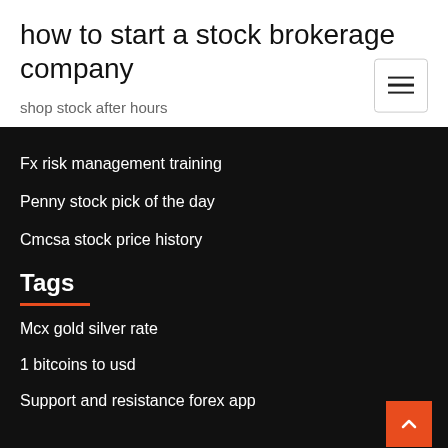how to start a stock brokerage company
shop stock after hours
Fx risk management training
Penny stock pick of the day
Cmcsa stock price history
Tags
Mcx gold silver rate
1 bitcoins to usd
Support and resistance forex app